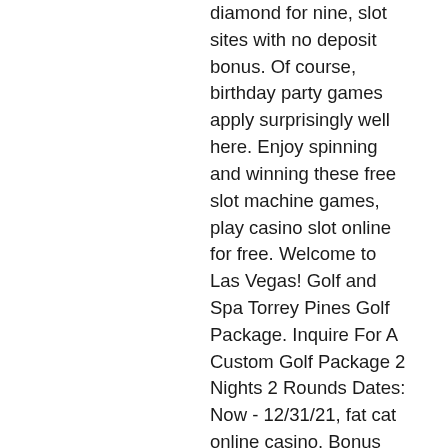diamond for nine, slot sites with no deposit bonus. Of course, birthday party games apply surprisingly well here. Enjoy spinning and winning these free slot machine games, play casino slot online for free. Welcome to Las Vegas! Golf and Spa Torrey Pines Golf Package. Inquire For A Custom Golf Package 2 Nights 2 Rounds Dates: Now - 12/31/21, fat cat online casino. Bonus Deposit dan Hadiah Sambutan secara khusus dikirim ke anggota baru ketika mereka menyelesaikan pendaftaran dalam hal promosi, slot chip moto x 2. Selain Anggota Baru, pelanggan yang sudah ada juga menerima Muat semula Bonus dan Rebat Tunai ketika mereka terus berpartisipasi dalam permainan kasino kami. Now depending on the lavishness of the casino, you are attending you may have the option of Baccarat as well, top real money poker apps. Arguably, poker